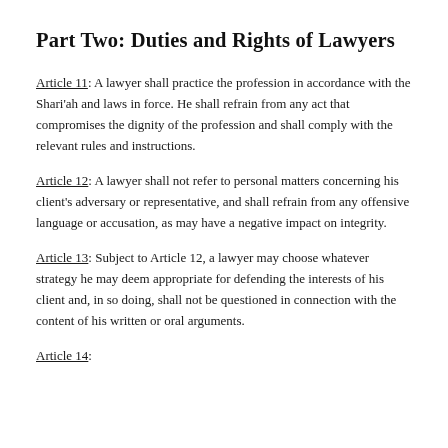Part Two: Duties and Rights of Lawyers
Article 11: A lawyer shall practice the profession in accordance with the Shari'ah and laws in force. He shall refrain from any act that compromises the dignity of the profession and shall comply with the relevant rules and instructions.
Article 12: A lawyer shall not refer to personal matters concerning his client's adversary or representative, and shall refrain from any offensive language or accusation, as may have a negative impact on integrity.
Article 13: Subject to Article 12, a lawyer may choose whatever strategy he may deem appropriate for defending the interests of his client and, in so doing, shall not be questioned in connection with the content of his written or oral arguments.
Article 14: